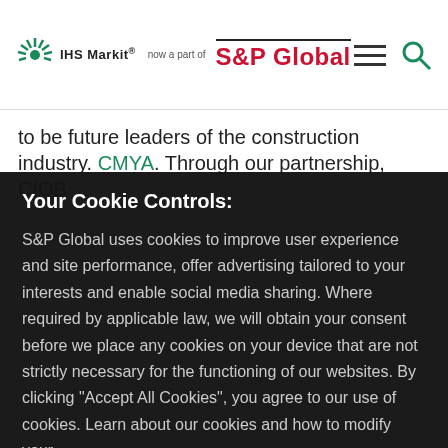IHS Markit now a part of S&P Global
to be future leaders of the construction industry. CMYA. Through our partnership, CIOB
Your Cookie Controls:
S&P Global uses cookies to improve user experience and site performance, offer advertising tailored to your interests and enable social media sharing. Where required by applicable law, we will obtain your consent before we place any cookies on your device that are not strictly necessary for the functioning of our websites. By clicking "Accept All Cookies", you agree to our use of cookies. Learn about our cookies and how to modify your